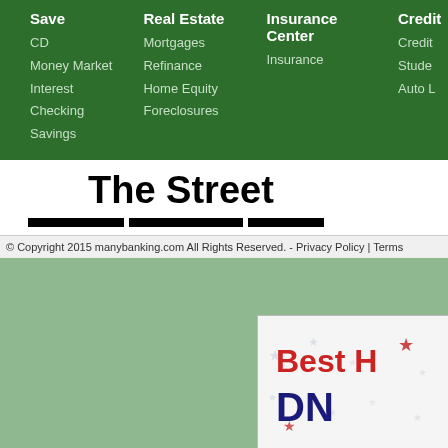Save | CD | Money Market | Interest Checking | Savings | Real Estate | Mortgages | Refinance | Home Equity | Foreclosures | Insurance Center | Insurance | Credit | Student | Auto L
The Street
© Copyright 2015 manybanking.com All Rights Reserved. - Privacy Policy | Terms
[Figure (infographic): Partial advertisement banner with 'Best H' in red and 'DN' in dark blue with star decorations and 'Visi' button in blue]